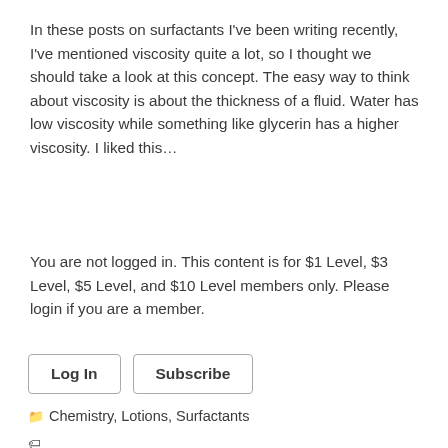In these posts on surfactants I've been writing recently, I've mentioned viscosity quite a lot, so I thought we should take a look at this concept. The easy way to think about viscosity is about the thickness of a fluid. Water has low viscosity while something like glycerin has a higher viscosity. I liked this…
You are not logged in. This content is for $1 Level, $3 Level, $5 Level, and $10 Level members only. Please login if you are a member.
Log In   Subscribe
Chemistry, Lotions, Surfactants